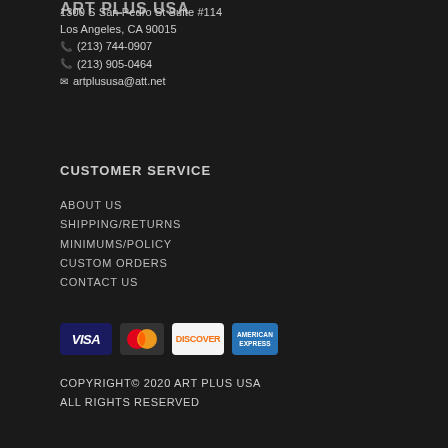ART PLUS USA
1300 S San Pedro St Suite #114
Los Angeles, CA 90015
☎ (213) 744-0907
☎ (213) 905-0464
✉ artplususa@att.net
CUSTOMER SERVICE
ABOUT US
SHIPPING/RETURNS
MINIMUMS/POLICY
CUSTOM ORDERS
CONTACT US
[Figure (other): Payment method logos: VISA, MasterCard, Discover, American Express]
COPYRIGHT© 2020 ART PLUS USA
ALL RIGHTS RESERVED